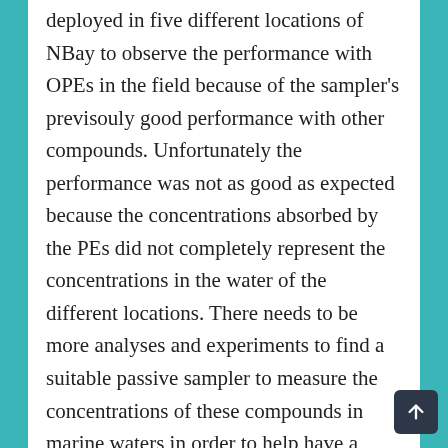deployed in five different locations of NBay to observe the performance with OPEs in the field because of the sampler's previsouly good performance with other compounds. Unfortunately the performance was not as good as expected because the concentrations absorbed by the PEs did not completely represent the concentrations in the water of the different locations. There needs to be more analyses and experiments to find a suitable passive sampler to measure the concentrations of these compounds in marine waters in order to help have a better environment for all.